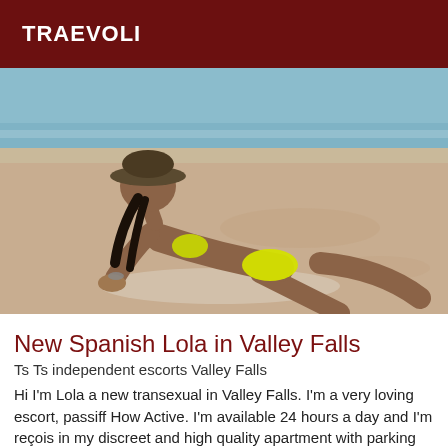TRAEVOLI
[Figure (photo): Woman in yellow bikini and brown hat posing on sandy beach with ocean in background]
New Spanish Lola in Valley Falls
Ts Ts independent escorts Valley Falls
Hi I'm Lola a new transexual in Valley Falls. I'm a very loving escort, passiff How Active. I'm available 24 hours a day and I'm reçois in my discreet and high quality apartment with parking spaces next door.